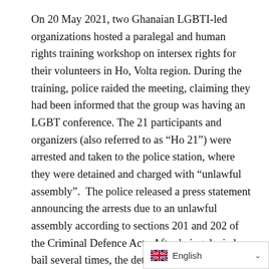On 20 May 2021, two Ghanaian LGBTI-led organizations hosted a paralegal and human rights training workshop on intersex rights for their volunteers in Ho, Volta region. During the training, police raided the meeting, claiming they had been informed that the group was having an LGBT conference. The 21 participants and organizers (also referred to as “Ho 21”) were arrested and taken to the police station, where they were detained and charged with “unlawful assembly”.  The police released a press statement announcing the arrests due to an unlawful assembly according to sections 201 and 202 of the Criminal Defence Act.  After being denied bail several times, the detainees were finally granted bail by the Ho High Court on 11 June 2021 on the basis that not doing so would be an infringement of their fundamental rights.  In August 2021, the case was dismissed by the Ho... the Prosecutor and AG ackno...